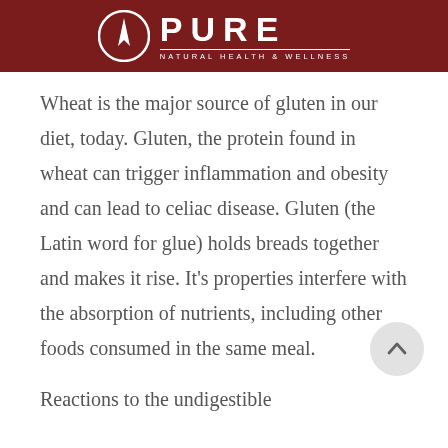PURE NATURAL HEALTH & WELLNESS
Wheat is the major source of gluten in our diet, today. Gluten, the protein found in wheat can trigger inflammation and obesity and can lead to celiac disease. Gluten (the Latin word for glue) holds breads together and makes it rise. It’s properties interfere with the absorption of nutrients, including other foods consumed in the same meal.
Reactions to the undigestible